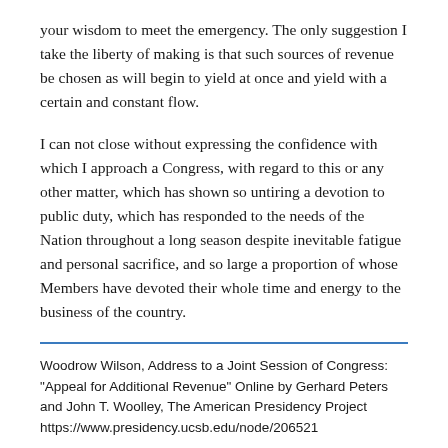your wisdom to meet the emergency. The only suggestion I take the liberty of making is that such sources of revenue be chosen as will begin to yield at once and yield with a certain and constant flow.
I can not close without expressing the confidence with which I approach a Congress, with regard to this or any other matter, which has shown so untiring a devotion to public duty, which has responded to the needs of the Nation throughout a long season despite inevitable fatigue and personal sacrifice, and so large a proportion of whose Members have devoted their whole time and energy to the business of the country.
Woodrow Wilson, Address to a Joint Session of Congress: "Appeal for Additional Revenue" Online by Gerhard Peters and John T. Woolley, The American Presidency Project https://www.presidency.ucsb.edu/node/206521
FILED UNDER
CATEGORIES